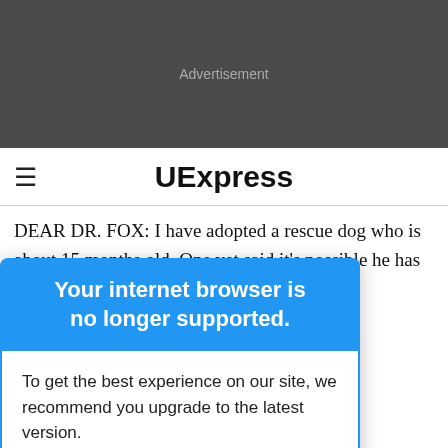[Figure (other): Dark grey advertisement banner placeholder with 'Advertisement' text centered]
≡ UExpress
DEAR DR. FOX: I have adopted a rescue dog who is about 15 months old. One vet said it's possible he has [overlay] ...mitted to ...t this problem ...ggested ...eats his entire ...problem is
Your internet browser is no longer supported.
To get the best experience on our site, we recommend you upgrade to the latest version.